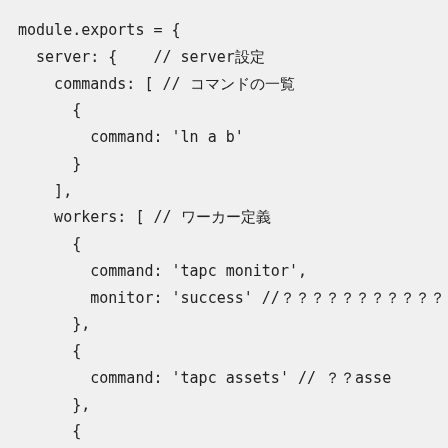module.exports = {
  server: {    // server設定
    commands: [ // コマンドの一覧
      {
        command: 'ln a b'
      }
    ],
    workers: [ // ワーカー定義
      {
        command: 'tapc monitor',
        monitor: 'success' //モニタリング
      },
      {
        command: 'tapc assets' // ←asse
      },
      {